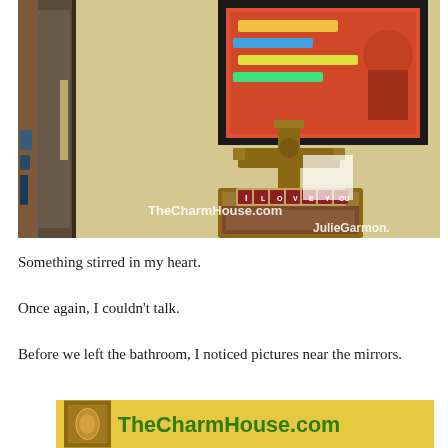[Figure (photo): Interior room photo showing an ornate cross on a decorative stand with 'I LOVE YOU' tiles at the base, a framed colorful artwork on the wall behind it, and an ornate mirror frame on the left. Watermarks read 'TheCharmHouse.com' and 'JulieGarmon.']
Something stirred in my heart.
Once again, I couldn't talk.
Before we left the bathroom, I noticed pictures near the mirrors.
[Figure (photo): Partial image showing the TheCharmHouse.com logo on a yellow/golden background with a decorative icon.]